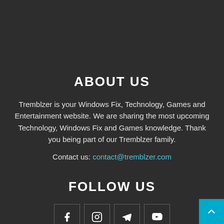ABOUT US
Tremblzer is your Windows Fix, Technology, Games and Entertainment website. We are sharing the most upcoming Technology, Windows Fix and Games knowledge. Thank you being part of our Tremblzer family.
Contact us: contact@tremblzer.com
FOLLOW US
[Figure (other): Social media icons: Facebook, Instagram, Telegram, YouTube, and a scroll-to-top button]